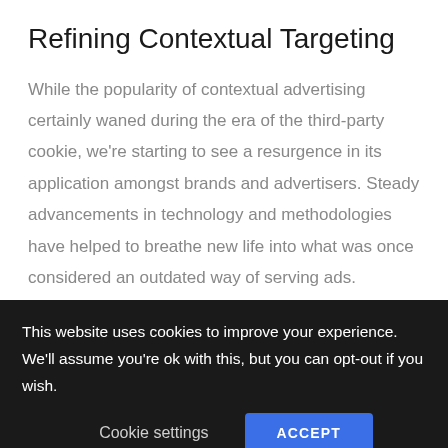Refining Contextual Targeting
While the popularity of contextual advertising certainly waned during the era of the third-party cookie, we're starting to see a resurgence in its application amongst brands and advertisers. Steady advancements in technology and methodologies have helped to breathe new life into what was once considered an outdated way of serving ads.
This website uses cookies to improve your experience. We'll assume you're ok with this, but you can opt-out if you wish.
Cookie settings    ACCEPT